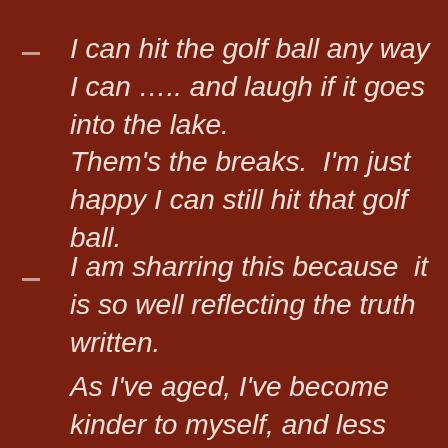I can hit the golf ball any way I can ….. and laugh if it goes into the lake.
Them's the breaks.  I'm just happy I can still hit that golf ball.
I am sharring this because  it is so well reflecting the truth written.
As I've aged, I've become kinder to myself, and less critical of myself. I've become my own